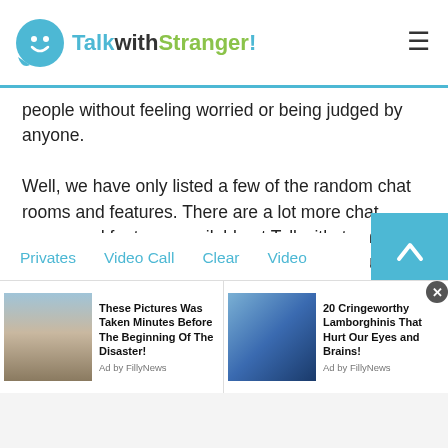TalkwithStranger!
people without feeling worried or being judged by anyone.

Well, we have only listed a few of the random chat rooms and features. There are a lot more chat rooms and features available at Talkwithstranger app that you can simply visit here. And of course, if you want to experience the real-time online journey, you can download an app. Have a happy chat with new online friends!
Privates
Video Call
Clear
Video
[Figure (screenshot): Advertisement: These Pictures Was Taken Minutes Before The Beginning Of The Disaster! Ad by FillyNews]
[Figure (screenshot): Advertisement: 20 Cringeworthy Lamborghinis That Hurt Our Eyes and Brains! Ad by FillyNews]